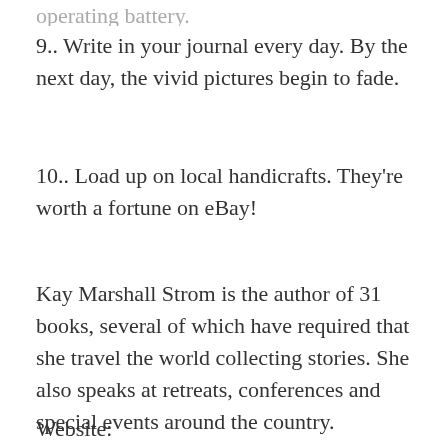9.. Write in your journal every day. By the next day, the vivid pictures begin to fade.
10.. Load up on local handicrafts. They're worth a fortune on eBay!
Kay Marshall Strom is the author of 31 books, several of which have required that she travel the world collecting stories. She also speaks at retreats, conferences and special events around the country.
Website: